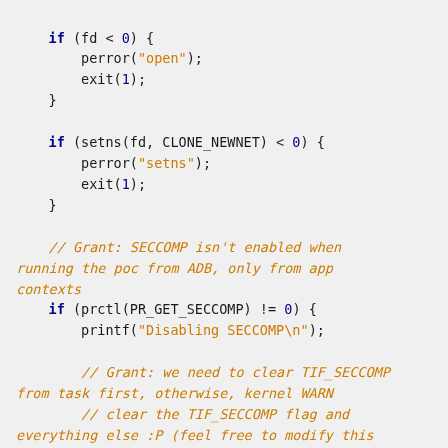[Figure (screenshot): Code block showing C code with if statements checking fd, setns, and prctl/SECCOMP, with orange italic comments attributed to 'Grant']